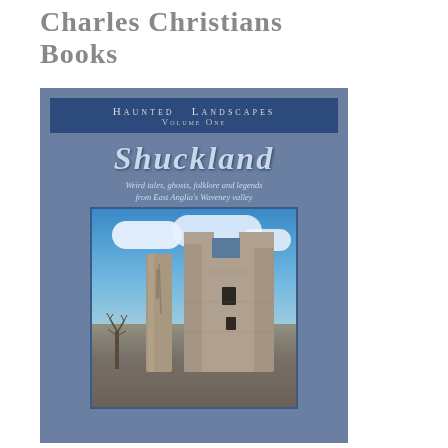Charles Christians Books
[Figure (illustration): Book cover for 'Shuckland – Haunted Landscapes Volume One'. Dark blue cover with the title 'SHUCKLAND' in large italic script, subtitle 'Weird tales, ghosts, folklore and legends from East Anglia's Waveney valley', and a photograph of ruined stone walls against a blue sky with clouds.]